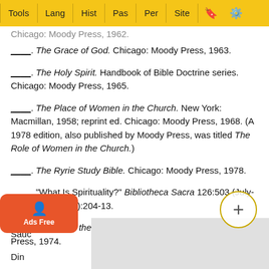Tools | Lang | Hist | Pas | Per | Site
____. The Grace of God. Chicago: Moody Press, 1963.
____. The Holy Spirit. Handbook of Bible Doctrine series. Chicago: Moody Press, 1965.
____. The Place of Women in the Church. New York: Macmillan, 1958; reprint ed. Chicago: Moody Press, 1968. (A 1978 edition, also published by Moody Press, was titled The Role of Women in the Church.)
____. The Ryrie Study Bible. Chicago: Moody Press, 1978.
____. "What Is Spirituality?" Bibliotheca Sacra 126:503 (July-September 1969):204-13.
____. You Mean the Bible Teaches That . . .. Chicago: Moody Press, 1974.
Sauc...
Din...